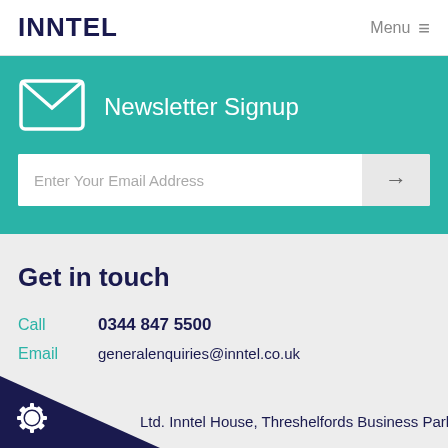INNTEL  Menu ≡
Newsletter Signup
Enter Your Email Address
Get in touch
Call  0344 847 5500
Email  generalenquiries@inntel.co.uk
Ltd. Inntel House, Threshelfords Business Park, Inworth